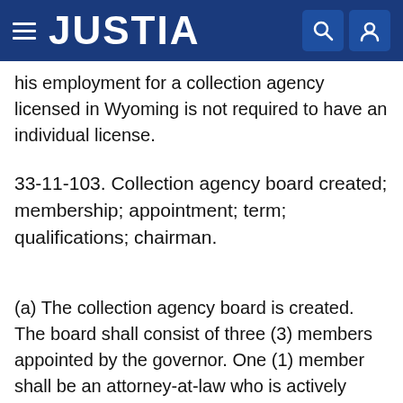JUSTIA
his employment for a collection agency licensed in Wyoming is not required to have an individual license.
33-11-103. Collection agency board created; membership; appointment; term; qualifications; chairman.
(a) The collection agency board is created. The board shall consist of three (3) members appointed by the governor. One (1) member shall be an attorney-at-law who is actively engaged in collection work. One (1) shall be an officer, partner, owner or resident manager of a